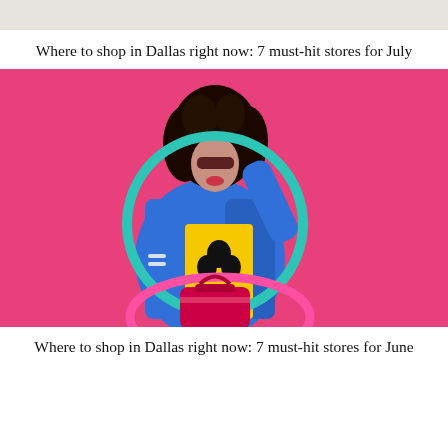[Figure (photo): Partial top image, cropped, light gray/beige background]
Where to shop in Dallas right now: 7 must-hit stores for July
[Figure (photo): Fashion photo of a woman with curly dark hair wearing sunglasses, a blue satin jacket, yellow Gucci shirt, holding a teal hula hoop and a red/pink bag, against a bright pink background]
Where to shop in Dallas right now: 7 must-hit stores for June